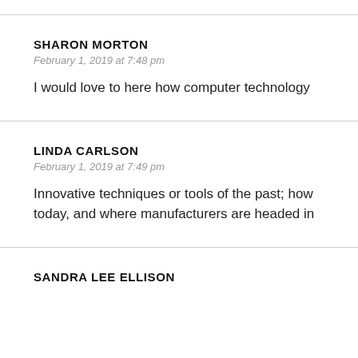SHARON MORTON
February 1, 2019 at 7:48 pm
I would love to here how computer technology
LINDA CARLSON
February 1, 2019 at 7:49 pm
Innovative techniques or tools of the past; how today, and where manufacturers are headed in
SANDRA LEE ELLISON